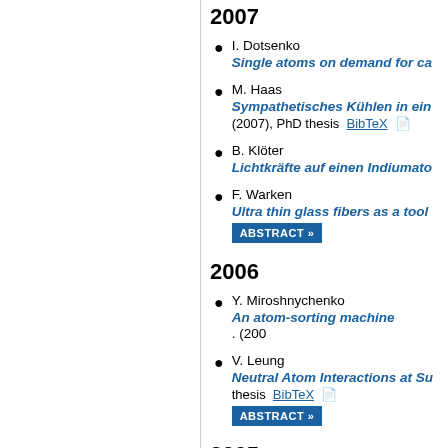2007
I. Dotsenko — Single atoms on demand for ca...
M. Haas — Sympathetisches Kühlen in ein... (2007), PhD thesis BibTeX [pdf]
B. Klöter — Lichtkräfte auf einen Indiumato...
F. Warken — Ultra thin glass fibers as a tool... ABSTRACT »
2006
Y. Miroshnychenko — An atom-sorting machine. (200...
V. Leung — Neutral Atom Interactions at Su... thesis BibTeX [pdf] ABSTRACT »
2005
R. dela Torre